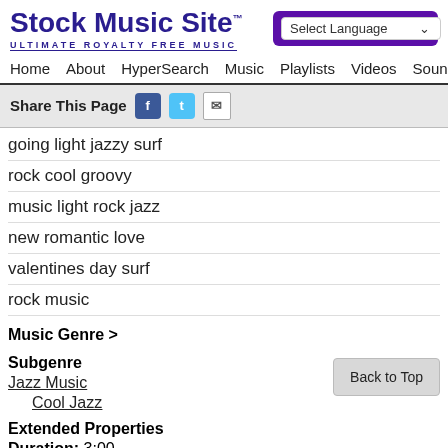Stock Music Site™ ULTIMATE ROYALTY FREE MUSIC
Select Language
Home  About  HyperSearch  Music  Playlists  Videos  Sound Effects  Arti...
Share This Page
going light jazzy surf
rock cool groovy
music light rock jazz
new romantic love
valentines day surf
rock music
Music Genre >
Subgenre
Jazz Music
Cool Jazz
Extended Properties
Duration: 3:00